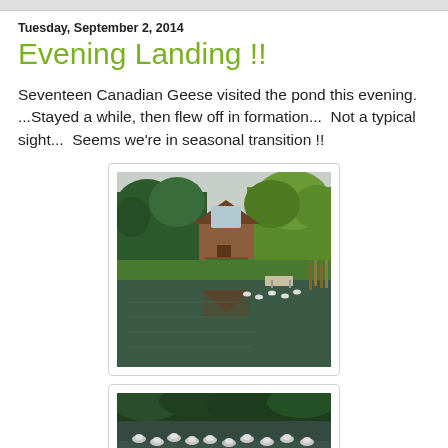Tuesday, September 2, 2014
Evening Landing !!
Seventeen Canadian Geese visited the pond this evening. ...Stayed a while, then flew off in formation...  Not a typical sight...  Seems we're in seasonal transition !!
[Figure (photo): A log cabin house near a pond surrounded by green trees, with reflections in the water and a small dock visible. Canadian geese can be seen on the water.]
[Figure (photo): Close-up view of Canadian geese swimming on a pond with dark green trees reflected in the water in the background.]